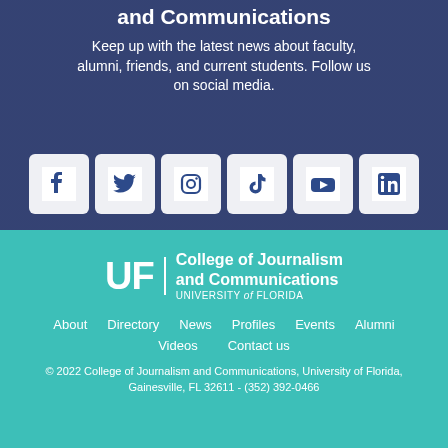and Communications
Keep up with the latest news about faculty, alumni, friends, and current students. Follow us on social media.
[Figure (infographic): Six social media icons in white rounded squares: Facebook, Twitter, Instagram, TikTok, YouTube, LinkedIn — displayed on a dark blue campus photo background.]
[Figure (logo): UF College of Journalism and Communications, University of Florida logo in white on teal background.]
About
Directory
News
Profiles
Events
Alumni
Videos
Contact us
© 2022 College of Journalism and Communications, University of Florida, Gainesville, FL 32611 - (352) 392-0466